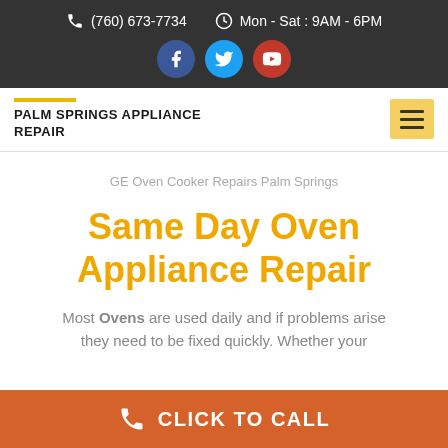(760) 673-7734  Mon - Sat : 9AM - 6PM
PALM SPRINGS APPLIANCE REPAIR
GE Oven Cooker Repairs Palm Springs
Same Day Oven Appliance Repair
Most Ovens are used daily and if problems arise they need to be fixed quickly. Whether your
CLICK TO CALL